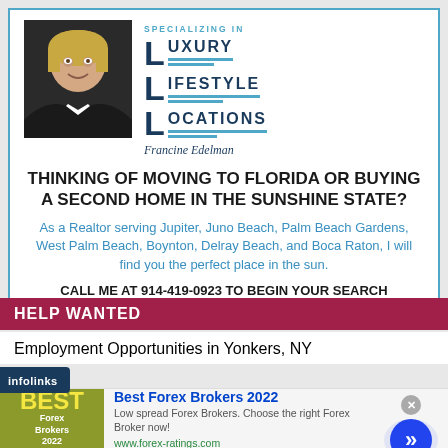[Figure (infographic): Real estate advertisement with agent photo and Luxury Lifestyle Locations logo for Francine Edelman]
THINKING OF MOVING TO FLORIDA OR BUYING A SECOND HOME IN THE SUNSHINE STATE?
As a Realtor serving Jupiter, Juno Beach, Palm Beach Gardens, West Palm Beach, Boynton, Delray Beach, and Boca Raton, I will find you the perfect place in the sun.
CALL ME AT 914-419-0923 TO BEGIN YOUR SEARCH
HELP WANTED
Employment Opportunities in Yonkers, NY
[Figure (screenshot): Infolinks advertisement badge overlay]
[Figure (infographic): Best Forex Brokers 2022 advertisement with logo, description and link www.forex-ratings.com]